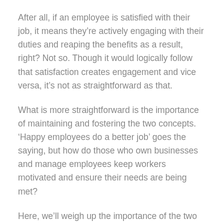After all, if an employee is satisfied with their job, it means they're actively engaging with their duties and reaping the benefits as a result, right? Not so. Though it would logically follow that satisfaction creates engagement and vice versa, it's not as straightforward as that.
What is more straightforward is the importance of maintaining and fostering the two concepts. 'Happy employees do a better job' goes the saying, but how do those who own businesses and manage employees keep workers motivated and ensure their needs are being met?
Here, we'll weigh up the importance of the two ideas before exploring how to improve satisfaction, increase engagement and foster advocacy in the process.